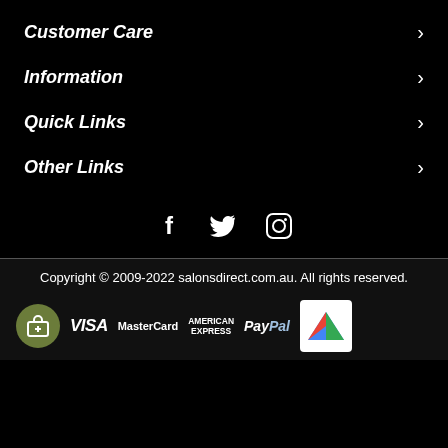Customer Care
Information
Quick Links
Other Links
[Figure (illustration): Social media icons: Facebook (f), Twitter (bird), Instagram (camera)]
Copyright © 2009-2022 salonsdirect.com.au. All rights reserved.
[Figure (logo): Payment method logos: VISA, MasterCard, AMERICAN EXPRESS, PayPal, and a shopping cart icon and reCAPTCHA badge]